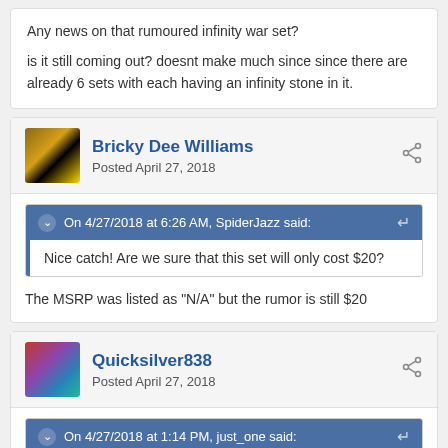Any news on that rumoured infinity war set?

is it still coming out? doesnt make much since since there are already 6 sets with each having an infinity stone in it.
Bricky Dee Williams
Posted April 27, 2018
On 4/27/2018 at 6:26 AM, SpiderJazz said:
Nice catch! Are we sure that this set will only cost $20?
The MSRP was listed as "N/A" but the rumor is still $20
Quicksilver838
Posted April 27, 2018
On 4/27/2018 at 1:14 PM, just_one said: